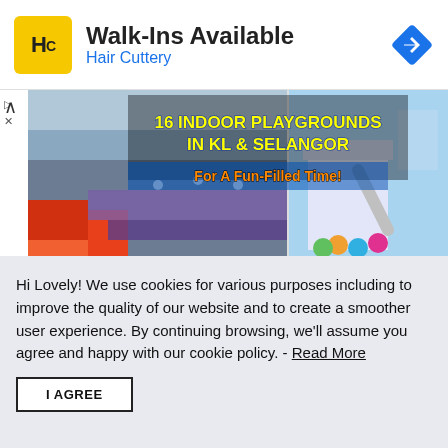[Figure (logo): Hair Cuttery advertisement banner with HC logo in yellow square, text 'Walk-Ins Available' and 'Hair Cuttery', and a blue navigation arrow icon]
[Figure (photo): Indoor playground banner image showing trampolines on the left and colorful play equipment on the right, with overlay text '16 INDOOR PLAYGROUNDS IN KL & SELANGOR' and 'For A Fun-Filled Time!']
16 Indoor Playgrounds In KL & Selangor For A Fun-Filled Time!
Hi Lovely! We use cookies for various purposes including to improve the quality of our website and to create a smoother user experience. By continuing browsing, we'll assume you agree and happy with our cookie policy. - Read More
I AGREE